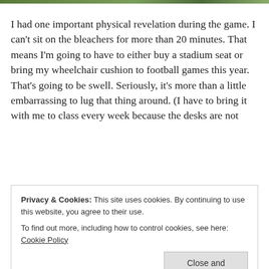[Figure (photo): Cropped photo strip at top of page showing outdoor scene]
I had one important physical revelation during the game. I can't sit on the bleachers for more than 20 minutes. That means I'm going to have to either buy a stadium seat or bring my wheelchair cushion to football games this year. That's going to be swell. Seriously, it's more than a little embarrassing to lug that thing around. (I have to bring it with me to class every week because the desks are not
Privacy & Cookies: This site uses cookies. By continuing to use this website, you agree to their use.
To find out more, including how to control cookies, see here: Cookie Policy
look smart,' she said. 'It's smart to be comfortable!' I'll go